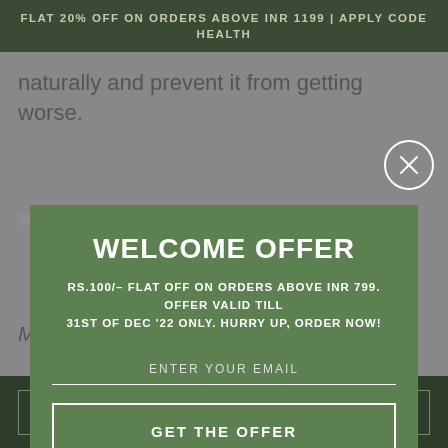FLAT 20% OFF ON ORDERS ABOVE INR 1199 | APPLY CODE HEALTH
naturally and prevent it from getting worse.
[Figure (screenshot): Popup modal with green background showing a welcome offer. Contains title 'WELCOME OFFER', offer text, email input field, and 'GET THE OFFER' button.]
Maharishi Mahesh Yogi Ji's mission,
ADD TO CART
BUY NOW